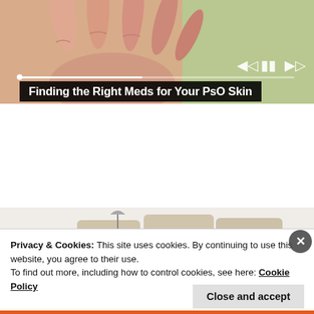[Figure (photo): Close-up photo of a person's open palm hand against a soft green background, suggesting skin/medical context. Video player controls (previous, pause, next) and a progress bar visible overlay.]
Finding the Right Meds for Your PsO Skin
[Figure (photo): Product image of a modern cream/beige sectional sofa with attached side table, speakers, and reclining features.]
Privacy & Cookies: This site uses cookies. By continuing to use this website, you agree to their use.
To find out more, including how to control cookies, see here: Cookie Policy
Close and accept